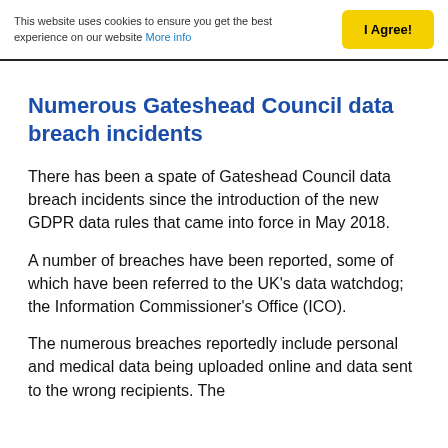This website uses cookies to ensure you get the best experience on our website More info | I Agree!
Numerous Gateshead Council data breach incidents
There has been a spate of Gateshead Council data breach incidents since the introduction of the new GDPR data rules that came into force in May 2018.
A number of breaches have been reported, some of which have been referred to the UK's data watchdog; the Information Commissioner's Office (ICO).
The numerous breaches reportedly include personal and medical data being uploaded online and data sent to the wrong recipients. The